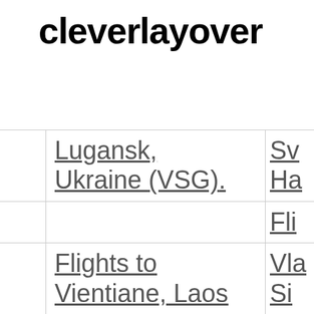cleverlayover
|  | Lugansk, Ukraine (VSG). | Sv... Ha... |
|  |  | Fli... |
|  | Flights to Vientiane, Laos (VTE Wattay) | Vla... Si... (V... |
Lugansk, Ukraine (VSG).
Flights to Vientiane, Laos (VTE Wattay)